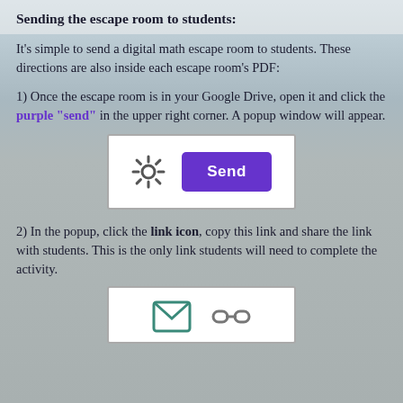Sending the escape room to students:
It's simple to send a digital math escape room to students. These directions are also inside each escape room's PDF:
1) Once the escape room is in your Google Drive, open it and click the purple "send" in the upper right corner. A popup window will appear.
[Figure (screenshot): Screenshot showing a gear icon and a purple Send button in the upper right corner of Google Slides.]
2) In the popup, click the link icon, copy this link and share the link with students. This is the only link students will need to complete the activity.
[Figure (screenshot): Screenshot showing a mail icon and a link icon in the sharing popup.]